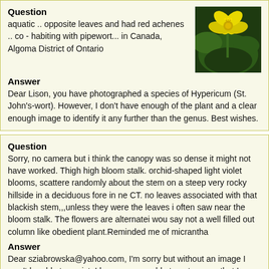Question
aquatic .. opposite leaves and had red achenes .. co - habiting with pipewort... in Canada, Algoma District of Ontario
[Figure (photo): Photo of a yellow flower (Hypericum/St. John's-wort) with green leaves against dark background]
Answer
Dear Lison, you have photographed a species of Hypericum (St. John's-wort). However, I don't have enough of the plant and a clear enough image to identify it any further than the genus. Best wishes.
Question
Sorry, no camera but i think the canopy was so dense it might not have worked. Thigh high bloom stalk. orchid-shaped light violet blooms, scattered randomly about the stem on a steep very rocky hillside in a deciduous fore in ne CT. no leaves associated with that blackish stem,,,unless they were the leaves i often saw near the bloom stalk. The flowers are alternatei wou say not a well filled out column like obedient plant.Reminded me of micrantha
Answer
Dear sziabrowska@yahoo.com, I'm sorry but without an image I won't be able to assist. I hope you are able to get one so that I might be able to help you with an identification.